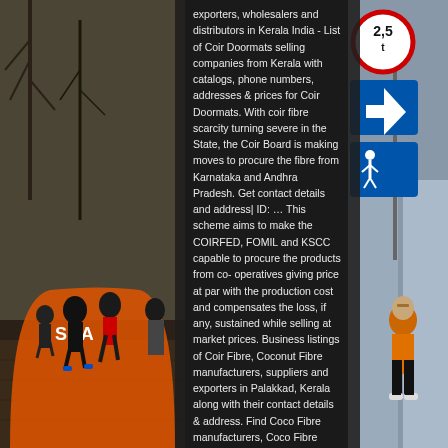[Figure (photo): Left side: outdoor running race photo with orange START arch banner, runners in black athletic wear on a brick path, bare winter trees in background]
exporters, wholesalers and distributors in Kerala India - List of Coir Doormats selling companies from Kerala with catalogs, phone numbers, addresses & prices for Coir Doormats. With coir fibre scarcity turning severe in the State, the Coir Board is making moves to procure the fibre from Karnataka and Andhra Pradesh. Get contact details and address| ID: … This scheme aims to make the COIRFED, FOMIL and KSCC capable to procure the products from co- operatives giving price at par with the production cost and compensates the loss, if any, sustained while selling at market prices. Business listings of Coir Fibre, Coconut Fibre manufacturers, suppliers and exporters in Palakkad, Kerala along with their contact details & address. Find Coco Fibre manufacturers, Coco Fibre suppliers, exporters, wholesalers and distributors in Kerala India - List of Coco Fibre selling companies from Kerala with catalogs, phone numbers, addresses & prices for Coco Fibre. 227.43 and the marketing margin of
[Figure (photo): Right side: outdoor street scene with road signs including a circular prohibition sign showing 2,5t weight limit and a blue directional arrow sign, person in orange vest visible]